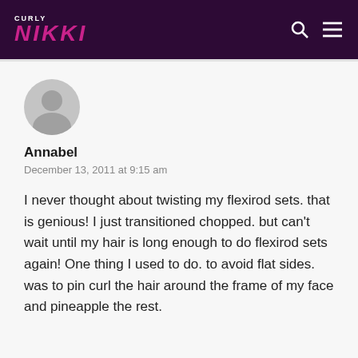CURLY NIKKI
Annabel
December 13, 2011 at 9:15 am
I never thought about twisting my flexirod sets. that is genious! I just transitioned chopped. but can't wait until my hair is long enough to do flexirod sets again! One thing I used to do. to avoid flat sides. was to pin curl the hair around the frame of my face and pineapple the rest.